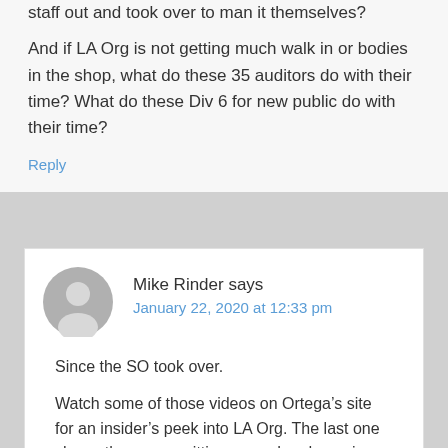staff out and took over to man it themselves?
And if LA Org is not getting much walk in or bodies in the shop, what do these 35 auditors do with their time? What do these Div 6 for new public do with their time?
Reply
Mike Rinder says
January 22, 2020 at 12:33 pm
Since the SO took over.
Watch some of those videos on Ortega’s site for an insider’s peek into LA Org. The last one shows the regges sitting around and ganging up on the guy to try to get $15 out of him NOW through any means